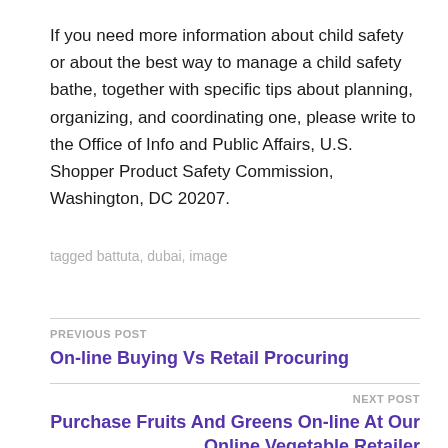If you need more information about child safety or about the best way to manage a child safety bathe, together with specific tips about planning, organizing, and coordinating one, please write to the Office of Info and Public Affairs, U.S. Shopper Product Safety Commission, Washington, DC 20207.
tagged battuta, dubai, image
PREVIOUS POST
On-line Buying Vs Retail Procuring
NEXT POST
Purchase Fruits And Greens On-line At Our Online Vegetable Retailer